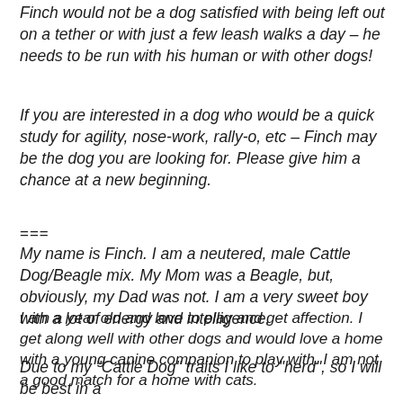Finch would not be a dog satisfied with being left out on a tether or with just a few leash walks a day – he needs to be run with his human or with other dogs!
If you are interested in a dog who would be a quick study for agility, nose-work, rally-o, etc – Finch may be the dog you are looking for. Please give him a chance at a new beginning.
===
My name is Finch. I am a neutered, male Cattle Dog/Beagle mix. My Mom was a Beagle, but, obviously, my Dad was not. I am a very sweet boy with a lot of energy and intelligence.
I am a year old and love to play and get affection. I get along well with other dogs and would love a home with a young canine companion to play with. I am not a good match for a home with cats.
Due to my "Cattle Dog" traits I like to "herd", so I will be best in a